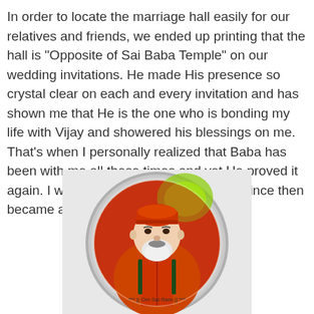In order to locate the marriage hall easily for our relatives and friends, we ended up printing that the hall is "Opposite of Sai Baba Temple" on our wedding invitations. He made His presence so crystal clear on each and every invitation and has shown me that He is the one who is bonding my life with Vijay and showered his blessings on me. That's when I personally realized that Baba has been with me all these times and yet He proved it again. I was over-whelmed with joy and since then became a hard-core devotee.
[Figure (photo): A circular framed painting/badge of Sai Baba dressed in orange/red robes with a white beard and red cap, depicted against a colorful background. Text at the bottom reads '*** || Om Sai Ram || ***']